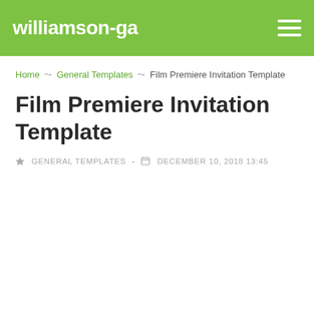williamson-ga
Home > General Templates > Film Premiere Invitation Template
Film Premiere Invitation Template
GENERAL TEMPLATES · DECEMBER 10, 2018 13:45